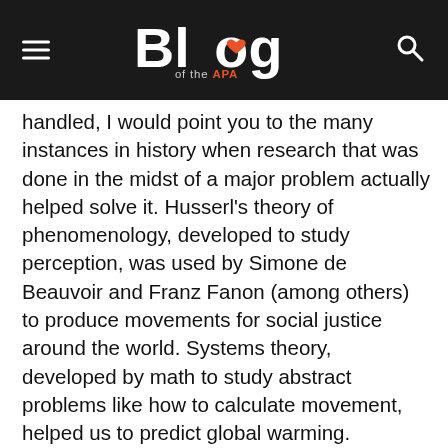Blog of the APA
handled, I would point you to the many instances in history when research that was done in the midst of a major problem actually helped solve it. Husserl's theory of phenomenology, developed to study perception, was used by Simone de Beauvoir and Franz Fanon (among others) to produce movements for social justice around the world. Systems theory, developed by math to study abstract problems like how to calculate movement, helped us to predict global warming. Nietzsche, whose work sparked this discussion, helped doctors to develop new ways of treating serious psychological conditions. It is difficult to predict the applications research will have in advance.
Your idea of going on strike is interesting, and could possibly be effective (though given how